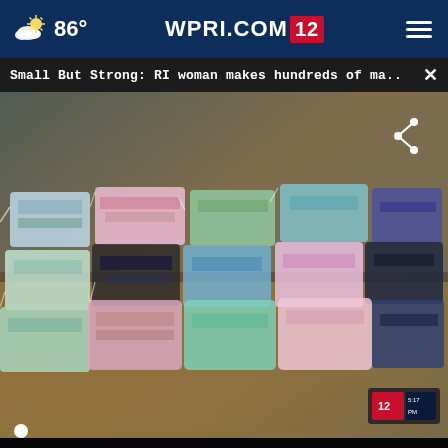86° WPRI.COM 12
Small But Strong: RI woman makes hundreds of ma...
[Figure (screenshot): Video player screenshot showing a pile of colorful fabric face masks on a table. Video controls visible at the bottom including pause button, mute, timestamp 00:01, CC and fullscreen icons. A channel bug watermark is visible bottom right.]
Identified Them Sooner)
Hep C | Sponsored Links
Sterling  OPEN | 9AM–8PM  22000 Dulles Retail Plaza, #110, Ste